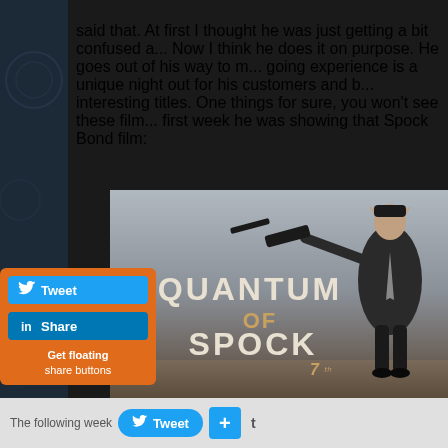said that. At first I thought he was just getting a bit confused a... Now I think he does it on purpose. He goes out of his way to make the cinema-going experience is a unique night out for his customers and be showing interesting titles. One things for sure, you won't see these film... first week he was showing that Spock Bond film:
[Figure (photo): Movie poster parody: 'Quantum of Spock' - a James Bond style poster featuring a man in a suit holding a gun, styled as a Spock/Bond crossover with the title text 'Quantum of Spock' in bold letters]
Tweet | Share | Get floating share buttons
The following week... in the... Tweet +